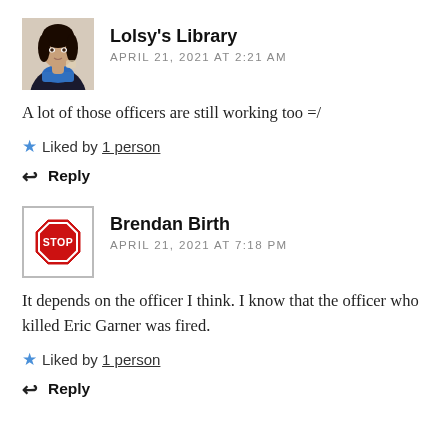[Figure (photo): Avatar photo of Lolsy's Library commenter, a woman in dark clothing with a blue scarf]
Lolsy's Library
APRIL 21, 2021 AT 2:21 AM
A lot of those officers are still working too =/
Liked by 1 person
Reply
[Figure (logo): Stop sign icon used as avatar for Brendan Birth]
Brendan Birth
APRIL 21, 2021 AT 7:18 PM
It depends on the officer I think. I know that the officer who killed Eric Garner was fired.
Liked by 1 person
Reply